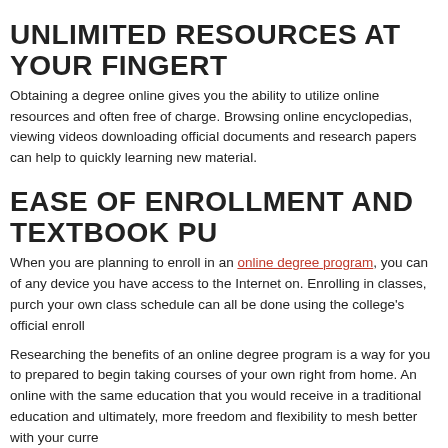UNLIMITED RESOURCES AT YOUR FINGERT…
Obtaining a degree online gives you the ability to utilize online resources and often free of charge. Browsing online encyclopedias, viewing videos downloading official documents and research papers can help to quickly learning new material.
EASE OF ENROLLMENT AND TEXTBOOK PU…
When you are planning to enroll in an online degree program, you can of any device you have access to the Internet on. Enrolling in classes, purch your own class schedule can all be done using the college's official enroll
Researching the benefits of an online degree program is a way for you to prepared to begin taking courses of your own right from home. An online with the same education that you would receive in a traditional education and ultimately, more freedom and flexibility to mesh better with your curre
[Figure (other): Social sharing buttons: Like 0 (Facebook), Tweet (Twitter), Share (LinkedIn), Save (Pinterest)]